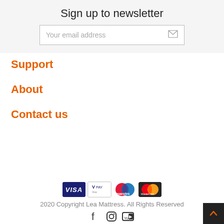Sign up to newsletter
Your email address
Support
About
Contact us
[Figure (other): Payment method logos: Visa, V PAY, Maestro, Mastercard]
2020 Copyright Lea Mattress. All Rights Reserved
[Figure (other): Social media icons: Facebook, Instagram, YouTube]